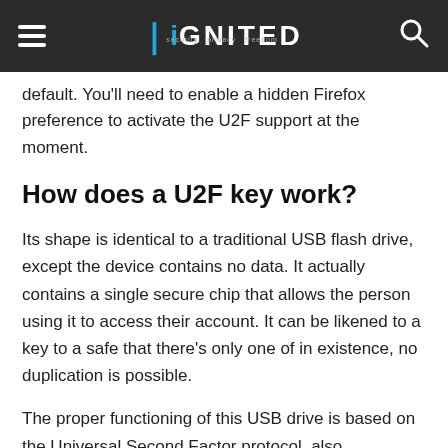iGNITED
default. You'll need to enable a hidden Firefox preference to activate the U2F support at the moment.
How does a U2F key work?
Its shape is identical to a traditional USB flash drive, except the device contains no data. It actually contains a single secure chip that allows the person using it to access their account. It can be likened to a key to a safe that there's only one of in existence, no duplication is possible.
The proper functioning of this USB drive is based on the Universal Second Factor protocol, also abbreviated as FIDO U2F. This standard was developed by three